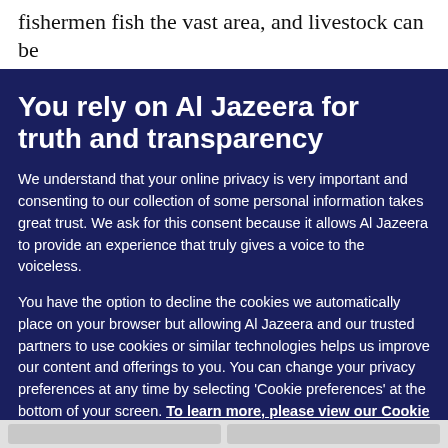fishermen fish the vast area, and livestock can be
You rely on Al Jazeera for truth and transparency
We understand that your online privacy is very important and consenting to our collection of some personal information takes great trust. We ask for this consent because it allows Al Jazeera to provide an experience that truly gives a voice to the voiceless.
You have the option to decline the cookies we automatically place on your browser but allowing Al Jazeera and our trusted partners to use cookies or similar technologies helps us improve our content and offerings to you. You can change your privacy preferences at any time by selecting 'Cookie preferences' at the bottom of your screen. To learn more, please view our Cookie Policy.